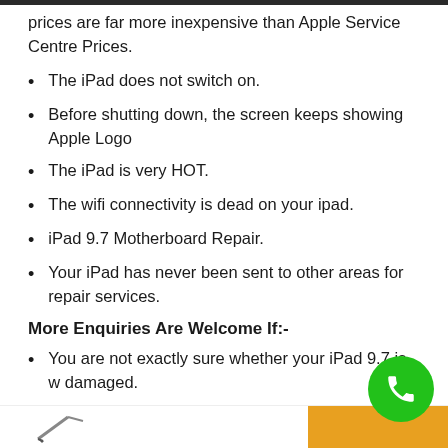prices are far more inexpensive than Apple Service Centre Prices.
The iPad does not switch on.
Before shutting down, the screen keeps showing Apple Logo
The iPad is very HOT.
The wifi connectivity is dead on your ipad.
iPad 9.7 Motherboard Repair.
Your iPad has never been sent to other areas for repair services.
More Enquiries Are Welcome If:-
You are not exactly sure whether your iPad 9.7 is w damaged.